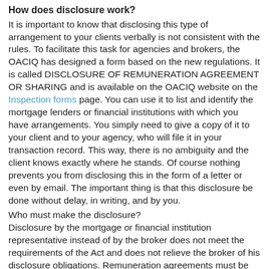How does disclosure work?
It is important to know that disclosing this type of arrangement to your clients verbally is not consistent with the rules. To facilitate this task for agencies and brokers, the OACIQ has designed a form based on the new regulations. It is called DISCLOSURE OF REMUNERATION AGREEMENT OR SHARING and is available on the OACIQ website on the Inspection forms page. You can use it to list and identify the mortgage lenders or financial institutions with which you have arrangements. You simply need to give a copy of it to your client and to your agency, who will file it in your transaction record. This way, there is no ambiguity and the client knows exactly where he stands. Of course nothing prevents you from disclosing this in the form of a letter or even by email. The important thing is that this disclosure be done without delay, in writing, and by you.
Who must make the disclosure?
Disclosure by the mortgage or financial institution representative instead of by the broker does not meet the requirements of the Act and does not relieve the broker of his disclosure obligations. Remuneration agreements must be disclosed in writing by the broker himself, before the buyer is